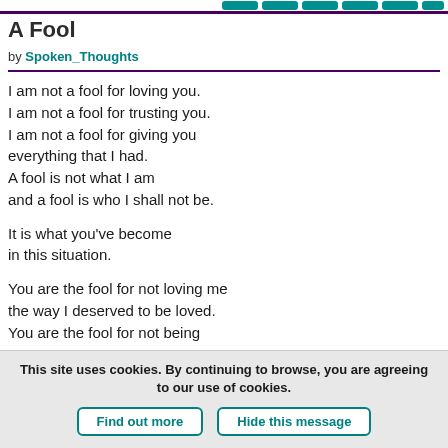navigation bar with buttons
A Fool
by Spoken_Thoughts
I am not a fool for loving you.
I am not a fool for trusting you.
I am not a fool for giving you everything that I had.
A fool is not what I am and a fool is who I shall not be.

It is what you've become in this situation.

You are the fool for not loving me the way I deserved to be loved.
You are the fool for not being
This site uses cookies. By continuing to browse, you are agreeing to our use of cookies.
Find out more   Hide this message